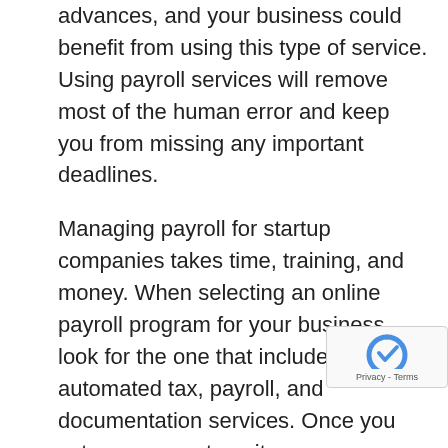advances, and your business could benefit from using this type of service. Using payroll services will remove most of the human error and keep you from missing any important deadlines.
Managing payroll for startup companies takes time, training, and money. When selecting an online payroll program for your business, look for the one that includes automated tax, payroll, and documentation services. Once you set up your system, it can save you time, effort, and stress. You will be able to see all the information in one place. Some services will even allow you to see all of this from your smartphone, so you can check on things at any time.
Entrepreneurship involves many tasks, duties and critical responsibilities. Ensuring the accuracy and organization of your financial records is vital to the success of your new venture. Professional accounting services have the skill, education and expertise to keep...